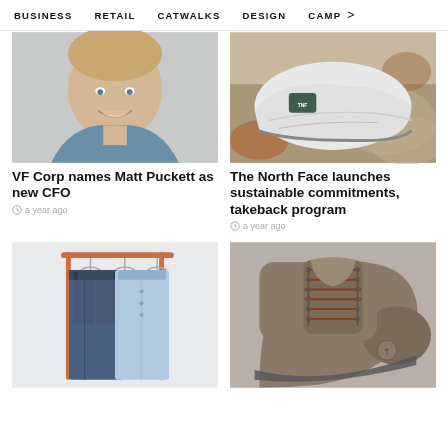BUSINESS   RETAIL   CATWALKS   DESIGN   CAMP >
[Figure (photo): Headshot of a smiling man in a blue shirt]
VF Corp names Matt Puckett as new CFO
a year ago
[Figure (photo): Close-up of a white North Face hiking shoe/sneaker on rocky terrain]
The North Face launches sustainable commitments, takeback program
a year ago
[Figure (photo): Jeans and light blue shirts hanging on a clothing rack with copper pipe]
[Figure (photo): Close-up of a Timberland brown hiking boot being held]